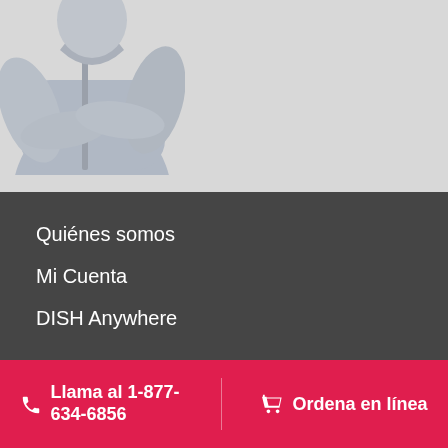[Figure (photo): Person with arms crossed wearing a grey hoodie/jacket, cropped to show torso and arms on a light grey background]
Quiénes somos
Mi Cuenta
DISH Anywhere
Llama al 1-877-634-6856
Ordena en línea